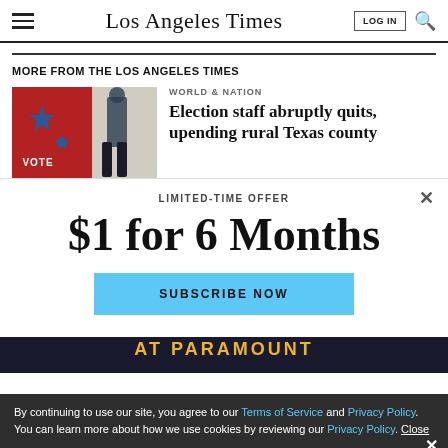Los Angeles Times
MORE FROM THE LOS ANGELES TIMES
[Figure (photo): A person stands near red voting banners with stars at a polling location.]
WORLD & NATION
Election staff abruptly quits, upending rural Texas county
LIMITED-TIME OFFER
$1 for 6 Months
SUBSCRIBE NOW
By continuing to use our site, you agree to our Terms of Service and Privacy Policy. You can learn more about how we use cookies by reviewing our Privacy Policy. Close